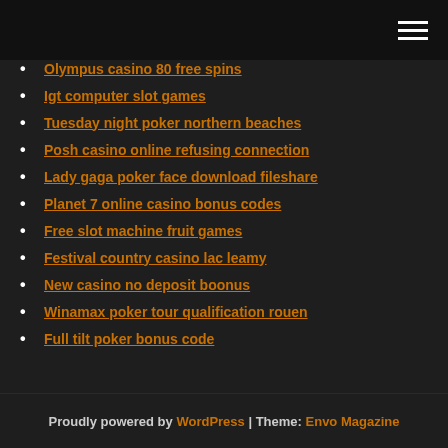Navigation menu (hamburger icon)
Olympus casino 80 free spins
Igt computer slot games
Tuesday night poker northern beaches
Posh casino online refusing connection
Lady gaga poker face download fileshare
Planet 7 online casino bonus codes
Free slot machine fruit games
Festival country casino lac leamy
New casino no deposit boonus
Winamax poker tour qualification rouen
Full tilt poker bonus code
Proudly powered by WordPress | Theme: Envo Magazine